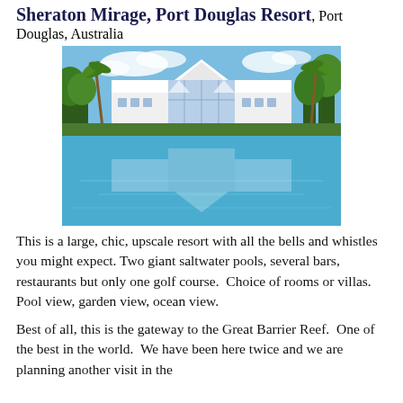Sheraton Mirage, Port Douglas Resort, Port Douglas, Australia
[Figure (photo): Exterior view of the Sheraton Mirage Port Douglas Resort showing a large white building with glass facades reflected in a large saltwater pool, surrounded by tropical palm trees and lush greenery under a blue sky.]
This is a large, chic, upscale resort with all the bells and whistles you might expect. Two giant saltwater pools, several bars, restaurants but only one golf course.  Choice of rooms or villas.  Pool view, garden view, ocean view.
Best of all, this is the gateway to the Great Barrier Reef.  One of the best in the world.  We have been here twice and we are planning another visit in the